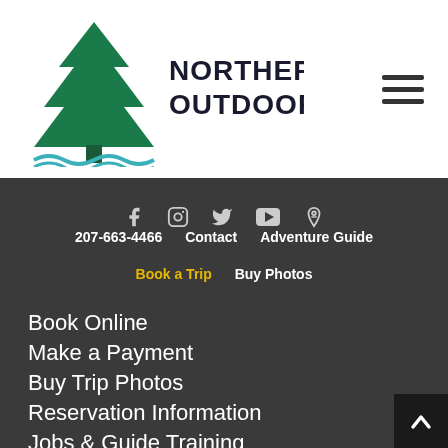[Figure (logo): Northern Outdoors logo with pine tree graphic and wavy water lines in teal/green, text says NORTHERN OUTDOORS]
[Figure (other): Hamburger menu icon with three horizontal lines]
[Figure (other): Social media icons: Facebook, Instagram, Twitter, YouTube, Pinterest]
207-663-4466   Contact   Adventure Guide
Book a Trip   Buy Photos
Book Online
Make a Payment
Buy Trip Photos
Reservation Information
Jobs & Guide Training